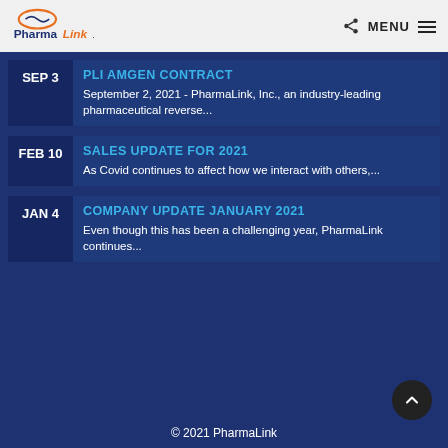PharmaLink — MENU
PLI AMGEN CONTRACT
September 2, 2021 - PharmaLink, Inc., an industry-leading pharmaceutical reverse...
SALES UPDATE FOR 2021
As Covid continues to affect how we interact with others,...
COMPANY UPDATE JANUARY 2021
Even though this has been a challenging year, PharmaLink continues...
© 2021 PharmaLink